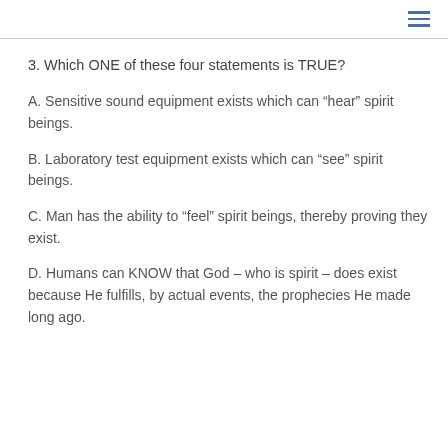≡
3. Which ONE of these four statements is TRUE?
A. Sensitive sound equipment exists which can “hear” spirit beings.
B. Laboratory test equipment exists which can “see” spirit beings.
C. Man has the ability to “feel” spirit beings, thereby proving they exist.
D. Humans can KNOW that God – who is spirit – does exist because He fulfills, by actual events, the prophecies He made long ago.